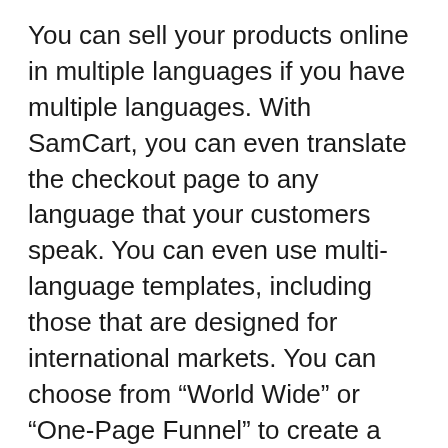You can sell your products online in multiple languages if you have multiple languages. With SamCart, you can even translate the checkout page to any language that your customers speak. You can even use multi-language templates, including those that are designed for international markets. You can choose from “World Wide” or “One-Page Funnel” to create a multilingual shopping cart. Scroll down to personalize it and then save it.
SamCart integrates well with many popular third-party apps like Zapier and Infusionsoft. It can also be used to integrate with social media. SamCart’s social media integrations can boost your revenue per month. These